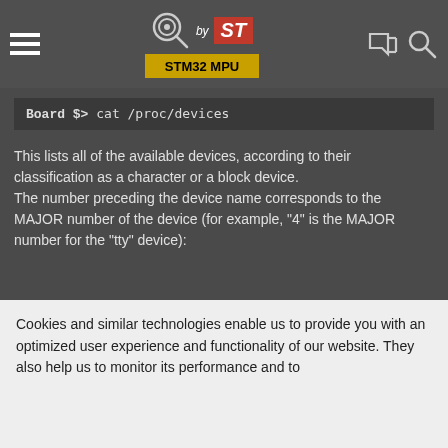STM32 MPU — ST website header with hamburger menu, search logo, and search/login icons
Board $> cat /proc/devices
This lists all of the available devices, according to their classification as a character or a block device.
The number preceding the device name corresponds to the MAJOR number of the device (for example, "4" is the MAJOR number for the "tty" device):
Character devices:
  1 mem
  2 pty
  3 ttyp
Cookies and similar technologies enable us to provide you with an optimized user experience and functionality of our website. They also help us to monitor its performance and to